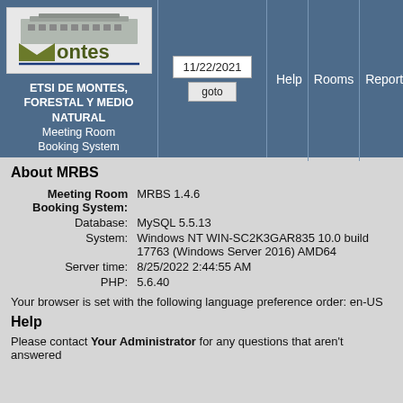[Figure (logo): Montes logo with building silhouette and green/olive M letter mark]
ETSI DE MONTES, FORESTAL Y MEDIO NATURAL Meeting Room Booking System
11/22/2021
goto
Help
Rooms
Report
About MRBS
| Meeting Room Booking System: | MRBS 1.4.6 |
| Database: | MySQL 5.5.13 |
| System: | Windows NT WIN-SC2K3GAR835 10.0 build 17763 (Windows Server 2016) AMD64 |
| Server time: | 8/25/2022 2:44:55 AM |
| PHP: | 5.6.40 |
Your browser is set with the following language preference order: en-US
Help
Please contact Your Administrator for any questions that aren't answered